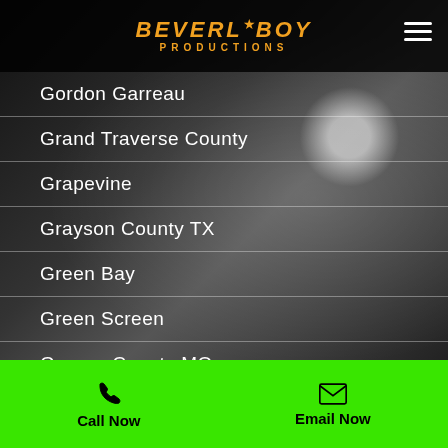[Figure (logo): Beverly Boy Productions logo with star, orange text on black header bar]
Gordon Garreau
Grand Traverse County
Grapevine
Grayson County TX
Green Bay
Green Screen
Greene County MO
Greensboro
Gregg County
Guadalupe County TX
Call Now   Email Now